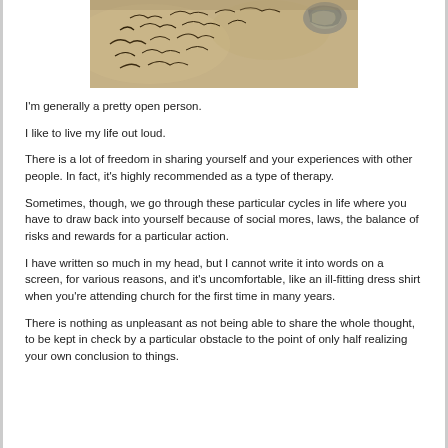[Figure (photo): Photograph of old handwritten script on aged parchment paper, with a decorative ring or object partially visible in the upper right corner.]
I'm generally a pretty open person.
I like to live my life out loud.
There is a lot of freedom in sharing yourself and your experiences with other people. In fact, it's highly recommended as a type of therapy.
Sometimes, though, we go through these particular cycles in life where you have to draw back into yourself because of social mores, laws, the balance of risks and rewards for a particular action.
I have written so much in my head, but I cannot write it into words on a screen, for various reasons, and it's uncomfortable, like an ill-fitting dress shirt when you're attending church for the first time in many years.
There is nothing as unpleasant as not being able to share the whole thought, to be kept in check by a particular obstacle to the point of only half realizing your own conclusion to things.